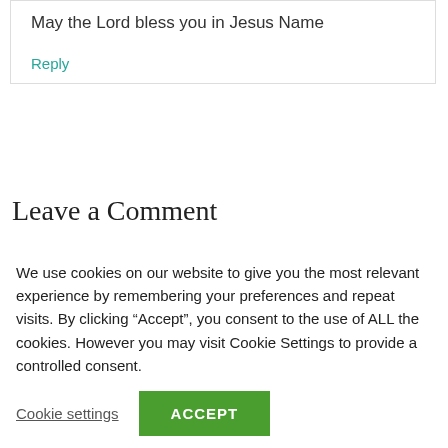May the Lord bless you in Jesus Name
Reply
Leave a Comment
We use cookies on our website to give you the most relevant experience by remembering your preferences and repeat visits. By clicking “Accept”, you consent to the use of ALL the cookies. However you may visit Cookie Settings to provide a controlled consent.
Cookie settings
ACCEPT